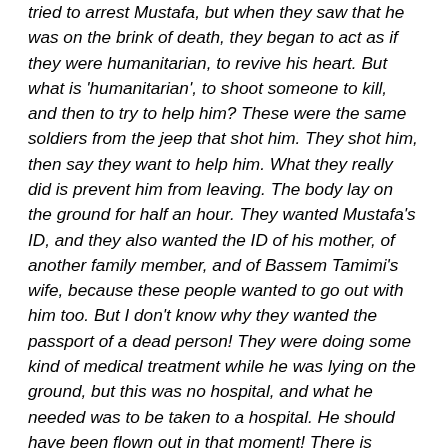tried to arrest Mustafa, but when they saw that he was on the brink of death, they began to act as if they were humanitarian, to revive his heart. But what is 'humanitarian', to shoot someone to kill, and then to try to help him? These were the same soldiers from the jeep that shot him. They shot him, then say they want to help him. What they really did is prevent him from leaving. The body lay on the ground for half an hour. They wanted Mustafa's ID, and they also wanted the ID of his mother, of another family member, and of Bassem Tamimi's wife, because these people wanted to go out with him too. But I don't know why they wanted the passport of a dead person! They were doing some kind of medical treatment while he was lying on the ground, but this was no hospital, and what he needed was to be taken to a hospital. He should have been flown out in that moment! There is nothing you can do for him on the street there.